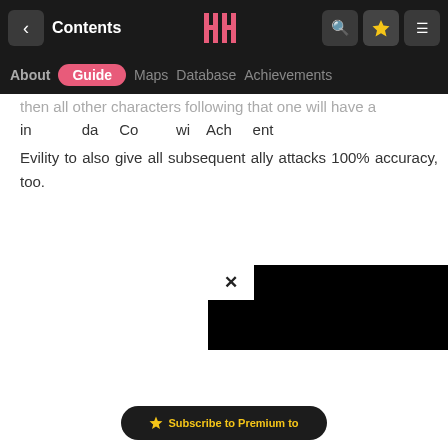Contents | Guide | About | Maps | Database | Achievements
then all other characters following that one will have a in Damage Contains with Evility to also give all subsequent ally attacks 100% accuracy, too.
[Figure (screenshot): Video ad overlay with close (X) button, black content area]
Subscribe to Premium to...